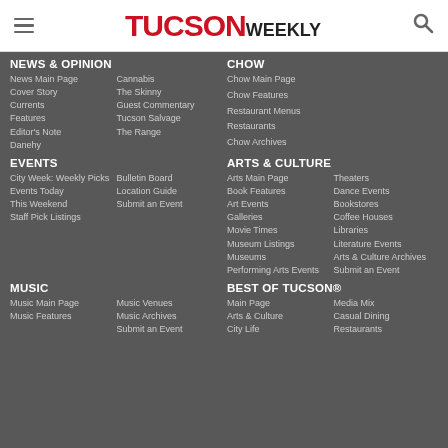TUCSON WEEKLY
NEWS & OPINION
News Main Page
Cover Story
Currents
Features
Editor's Note
Danehy
Cannabis
The Skinny
Guest Commentary
Tucson Salvage
The Range
CHOW
Chow Main Page
Chow Features
Restaurant Menus
Restaurants
Chow Archives
EVENTS
City Week: Weekly Picks
Events Today
This Weekend
Staff Pick Listings
Bulletin Board
Location Guide
Submit an Event
ARTS & CULTURE
Arts Main Page
Book Features
Art Events
Galleries
Movie Times
Museum Listings
Museums
Performing Arts Events
Theaters
Dance Events
Bookstores
Coffee Houses
Libraries
Literature Events
Arts & Culture Archives
Submit an Event
MUSIC
Music Main Page
Music Features
Music Venues
Music Archives
Submit an Event
BEST OF TUCSON®
Main Page
Arts & Culture
City Life
Media Mix
Casual Dining
Restaurants